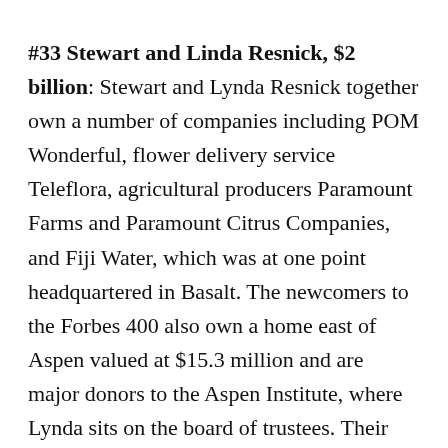#33 Stewart and Linda Resnick, $2 billion: Stewart and Lynda Resnick together own a number of companies including POM Wonderful, flower delivery service Teleflora, agricultural producers Paramount Farms and Paramount Citrus Companies, and Fiji Water, which was at one point headquartered in Basalt. The newcomers to the Forbes 400 also own a home east of Aspen valued at $15.3 million and are major donors to the Aspen Institute, where Lynda sits on the board of trustees. Their gift of $3 million to renovate the Paepcke Auditorium caused a flap when